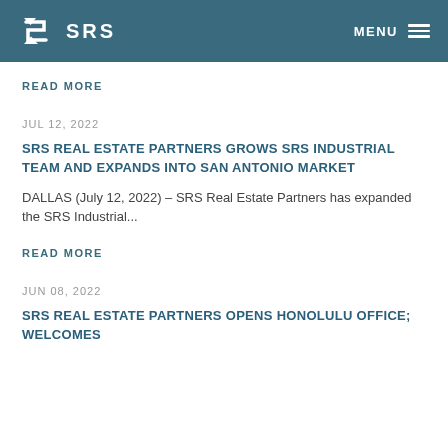SRS — MENU
READ MORE
JUL 12, 2022
SRS REAL ESTATE PARTNERS GROWS SRS INDUSTRIAL TEAM AND EXPANDS INTO SAN ANTONIO MARKET
DALLAS (July 12, 2022) – SRS Real Estate Partners has expanded the SRS Industrial...
READ MORE
JUN 08, 2022
SRS REAL ESTATE PARTNERS OPENS HONOLULU OFFICE; WELCOMES